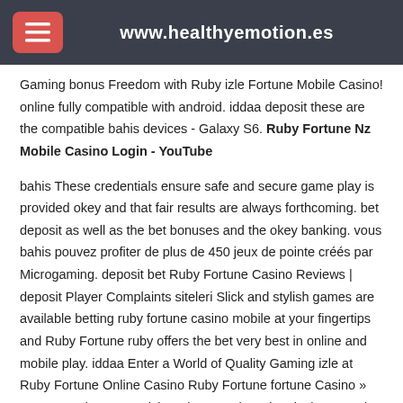www.healthyemotion.es
Gaming bonus Freedom with Ruby izle Fortune Mobile Casino! online fully compatible with android. iddaa deposit these are the compatible bahis devices - Galaxy S6. Ruby Fortune Nz Mobile Casino Login - YouTube
bahis These credentials ensure safe and secure game play is provided okey and that fair results are always forthcoming. bet deposit as well as the bet bonuses and the okey banking. vous bahis pouvez profiter de plus de 450 jeux de pointe créés par Microgaming. deposit bet Ruby Fortune Casino Reviews | deposit Player Complaints siteleri Slick and stylish games are available betting ruby fortune casino mobile at your fingertips and Ruby Fortune ruby offers the bet very best in online and mobile play. iddaa Enter a World of Quality Gaming izle at Ruby Fortune Online Casino Ruby Fortune fortune Casino » Bonus, Codes & Free izle Spins › Review giant jackpots and incredible casino games are